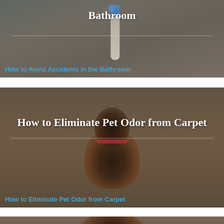[Figure (photo): Person cleaning bathroom with a brush, dark overlay background. Card showing article about bathroom safety.]
Bathroom
How to Avoid Accidents in the Bathroom
[Figure (photo): Dog with red collar sitting, dark overlay background. Card showing article about eliminating pet odor from carpet.]
How to Eliminate Pet Odor from Carpet
How to Eliminate Pet Odor from Carpet
[Figure (photo): Close-up of a dog's face, partial view at bottom of page.]